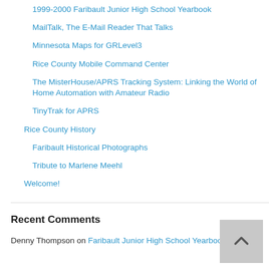1999-2000 Faribault Junior High School Yearbook
MailTalk, The E-Mail Reader That Talks
Minnesota Maps for GRLevel3
Rice County Mobile Command Center
The MisterHouse/APRS Tracking System: Linking the World of Home Automation with Amateur Radio
TinyTrak for APRS
Rice County History
Faribault Historical Photographs
Tribute to Marlene Meehl
Welcome!
Recent Comments
Denny Thompson on Faribault Junior High School Yearbook Project